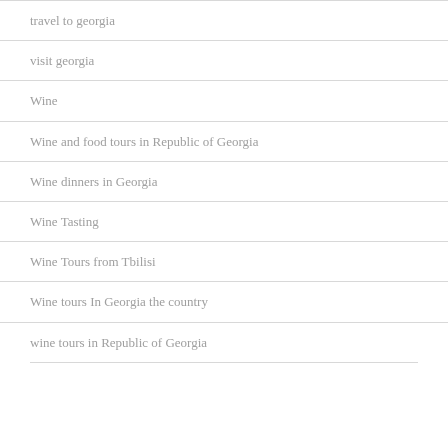travel to georgia
visit georgia
Wine
Wine and food tours in Republic of Georgia
Wine dinners in Georgia
Wine Tasting
Wine Tours from Tbilisi
Wine tours In Georgia the country
wine tours in Republic of Georgia